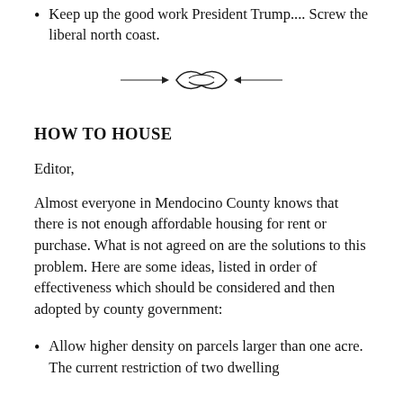Keep up the good work President Trump.... Screw the liberal north coast.
[Figure (illustration): Decorative ornamental divider with swirl/scroll design in black]
HOW TO HOUSE
Editor,
Almost everyone in Mendocino County knows that there is not enough affordable housing for rent or purchase. What is not agreed on are the solutions to this problem. Here are some ideas, listed in order of effectiveness which should be considered and then adopted by county government:
Allow higher density on parcels larger than one acre. The current restriction of two dwelling